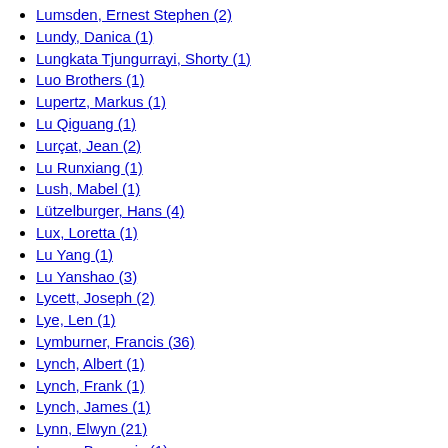Lumsden, Ernest Stephen (2)
Lundy, Danica (1)
Lungkata Tjungurrayi, Shorty (1)
Luo Brothers (1)
Lupertz, Markus (1)
Lu Qiguang (1)
Lurçat, Jean (2)
Lu Runxiang (1)
Lush, Mabel (1)
Lützelburger, Hans (4)
Lux, Loretta (1)
Lu Yang (1)
Lu Yanshao (3)
Lycett, Joseph (2)
Lye, Len (1)
Lymburner, Francis (36)
Lynch, Albert (1)
Lynch, Frank (1)
Lynch, James (1)
Lynn, Elwyn (21)
Lyons, Beauvais (1)
Lyons, Leo (1)
Lyons, Molly (2)
Lyssiotis, Peter (2)